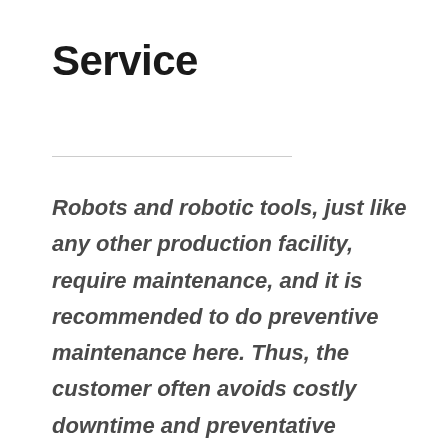Service
Robots and robotic tools, just like any other production facility, require maintenance, and it is recommended to do preventive maintenance here. Thus, the customer often avoids costly downtime and preventative maintenance minimizes